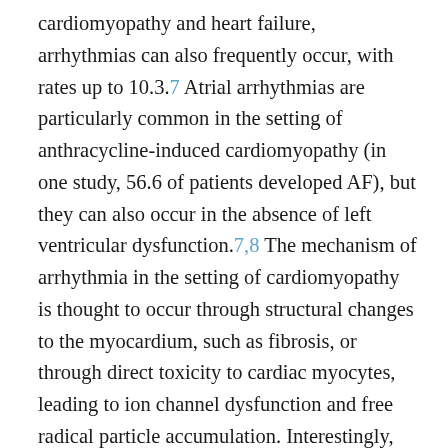cardiomyopathy and heart failure, arrhythmias can also frequently occur, with rates up to 10.3.7 Atrial arrhythmias are particularly common in the setting of anthracycline-induced cardiomyopathy (in one study, 56.6 of patients developed AF), but they can also occur in the absence of left ventricular dysfunction.7,8 The mechanism of arrhythmia in the setting of cardiomyopathy is thought to occur through structural changes to the myocardium, such as fibrosis, or through direct toxicity to cardiac myocytes, leading to ion channel dysfunction and free radical particle accumulation. Interestingly, the risk of atrial arrhythmia associated with anthracycline-induced cardiomyopathy is similar to other nonischemic etiologies (3344).9